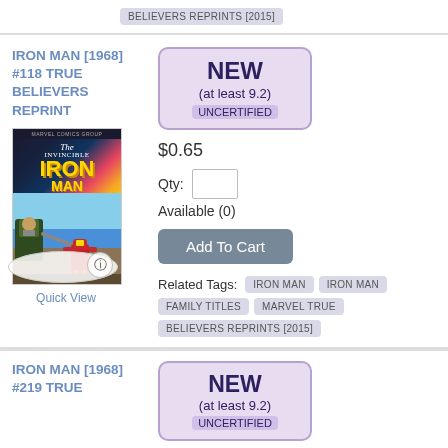BELIEVERS REPRINTS [2015]
IRON MAN [1968] #118 TRUE BELIEVERS REPRINT
[Figure (illustration): Comic book cover for The Invincible Iron Man with Iron Man character]
Quick View
NEW (at least 9.2) UNCERTIFIED
$0.65
Qty:
Available (0)
Add To Cart
Related Tags:
IRON MAN
IRON MAN FAMILY TITLES
MARVEL TRUE BELIEVERS REPRINTS [2015]
IRON MAN [1968] #219 TRUE
NEW (at least 9.2) UNCERTIFIED